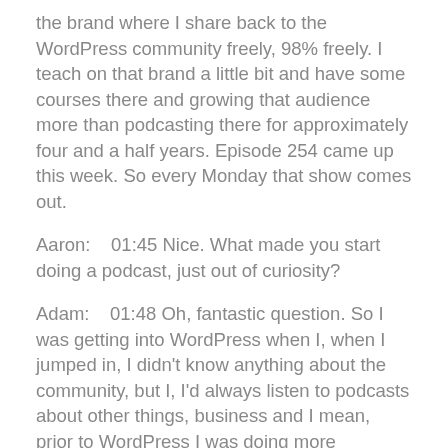the brand where I share back to the WordPress community freely, 98% freely. I teach on that brand a little bit and have some courses there and growing that audience more than podcasting there for approximately four and a half years. Episode 254 came up this week. So every Monday that show comes out.
Aaron:    01:45 Nice. What made you start doing a podcast, just out of curiosity?
Adam:    01:48 Oh, fantastic question. So I was getting into WordPress when I, when I jumped in, I didn't know anything about the community, but I, I'd always listen to podcasts about other things, business and I mean, prior to WordPress I was doing more photography work in video. So I used to listen to or watch podcasts in that realm some were video based and my mind, a podcast is to audio, but the definition could be a video as well, or like a pdf that's kind of weird the way it's defined. Anyway. I decided to look to see in the iTunes directory where there any podcasts